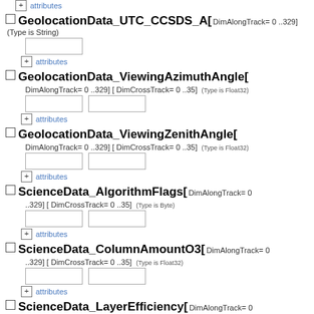attributes (top, collapsed)
GeolocationData_UTC_CCSDS_A[ DimAlongTrack= 0 ..329] (Type is String)
attributes
GeolocationData_ViewingAzimuthAngle[ DimAlongTrack= 0 ..329] [ DimCrossTrack= 0 ..35] (Type is Float32)
attributes
GeolocationData_ViewingZenithAngle[ DimAlongTrack= 0 ..329] [ DimCrossTrack= 0 ..35] (Type is Float32)
attributes
ScienceData_AlgorithmFlags[ DimAlongTrack= 0 ..329] [ DimCrossTrack= 0 ..35] (Type is Byte)
attributes
ScienceData_ColumnAmountO3[ DimAlongTrack= 0 ..329] [ DimCrossTrack= 0 ..35] (Type is Float32)
attributes
ScienceData_LayerEfficiency[ DimAlongTrack= 0 ..329] [ DimCrossTrack= 0 ..35] [ DimLayer= 0 ..18]